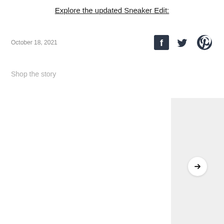Explore the updated Sneaker Edit:
October 18, 2021
[Figure (infographic): Social share icons: Facebook, Twitter, Pinterest]
Shop the story
[Figure (other): Product carousel area with light grey background and right arrow navigation button]